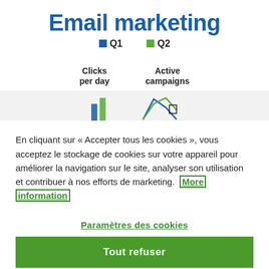Email marketing
■ Q1   ■ Q2
[Figure (other): Partial view of an email marketing dashboard showing 'Clicks per day' and 'Active campaigns' metrics with partial chart graphics cropped at bottom]
En cliquant sur « Accepter tous les cookies », vous acceptez le stockage de cookies sur votre appareil pour améliorer la navigation sur le site, analyser son utilisation et contribuer à nos efforts de marketing. More information
Paramètres des cookies
Tout refuser
Autoriser tous les cookies